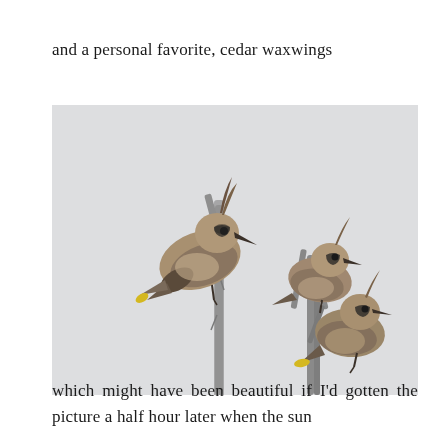and a personal favorite, cedar waxwings
[Figure (photo): Three cedar waxwing birds perched on bare dead branches against a light gray sky. One large bird is on the left branch facing left, and two birds are on the right cluster of branches — one larger bird above and one smaller bird below, both facing left.]
which might have been beautiful if I'd gotten the picture a half hour later when the sun